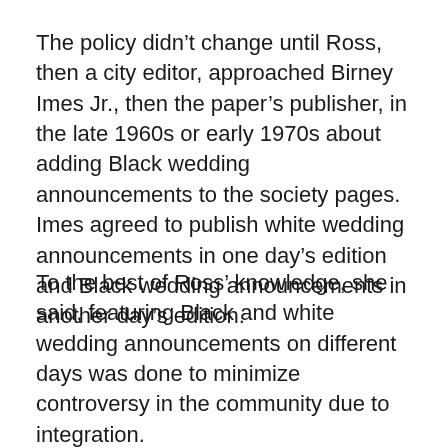The policy didn't change until Ross, then a city editor, approached Birney Imes Jr., then the paper's publisher, in the late 1960s or early 1970s about adding Black wedding announcements to the society pages. Imes agreed to publish white wedding announcements in one day's edition and Black wedding announcements in another day's edition.
To the best of Ross' knowledge, she said, featuring Black and white wedding announcements on different days was done to minimize controversy in the community due to integration.